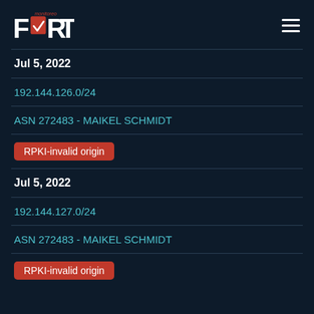FORT monitoreo
Jul 5, 2022
192.144.126.0/24
ASN 272483 - MAIKEL SCHMIDT
RPKI-invalid origin
Jul 5, 2022
192.144.127.0/24
ASN 272483 - MAIKEL SCHMIDT
RPKI-invalid origin